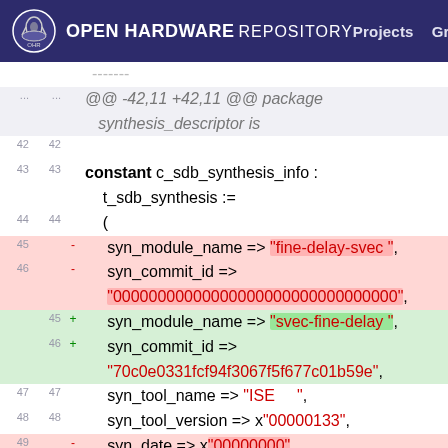OPEN HARDWARE REPOSITORY  Projects  Groups  Snippets
[Figure (screenshot): Code diff view showing VHDL source changes to synthesis descriptor constants: syn_module_name changed from 'fine-delay-svec' to 'svec-fine-delay', syn_commit_id changed from all zeros to '70c0e0331fcf94f3067f5f677c01b59e', syn_date changed from x'00000000' to x'20140318', and syn_username begins as 'twlostow'.]